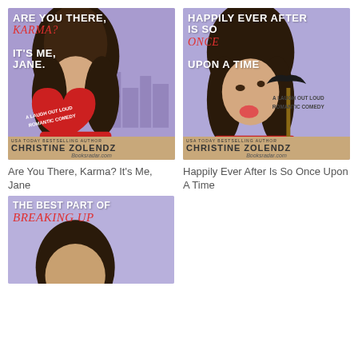[Figure (illustration): Book cover: Are You There, Karma? It's Me, Jane by Christine Zolendz. Purple background with woman holding red heart, laugh out loud romantic comedy]
[Figure (illustration): Book cover: Happily Ever After Is So Once Upon A Time by Christine Zolendz. Purple background with woman holding mustache prop, laugh out loud romantic comedy]
Are You There, Karma? It's Me, Jane
Happily Ever After Is So Once Upon A Time
[Figure (illustration): Book cover: The Best Part Of Breaking Up by Christine Zolendz. Purple background partially shown.]